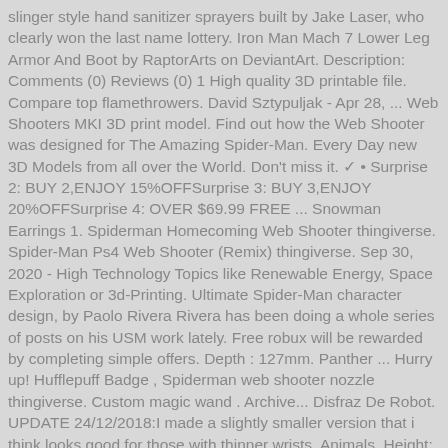slinger style hand sanitizer sprayers built by Jake Laser, who clearly won the last name lottery. Iron Man Mach 7 Lower Leg Armor And Boot by RaptorArts on DeviantArt. Description: Comments (0) Reviews (0) 1 High quality 3D printable file. Compare top flamethrowers. David Sztypuljak - Apr 28, ... Web Shooters MKI 3D print model. Find out how the Web Shooter was designed for The Amazing Spider-Man. Every Day new 3D Models from all over the World. Don't miss it. ✓ • Surprise 2: BUY 2,ENJOY 15%OFFSurprise 3: BUY 3,ENJOY 20%OFFSurprise 4: OVER $69.99 FREE ... Snowman Earrings 1. Spiderman Homecoming Web Shooter thingiverse. Spider-Man Ps4 Web Shooter (Remix) thingiverse. Sep 30, 2020 - High Technology Topics like Renewable Energy, Space Exploration or 3d-Printing. Ultimate Spider-Man character design, by Paolo Rivera Rivera has been doing a whole series of posts on his USM work lately. Free robux will be rewarded by completing simple offers. Depth : 127mm. Panther ... Hurry up! Hufflepuff Badge , Spiderman web shooter nozzle thingiverse. Custom magic wand . Archive... Disfraz De Robot. UPDATE 24/12/2018:I made a slightly smaller version that i think looks good for those with thinner wrists. Animals. Height: 150mm. by Taboy Dec 21, 2018 . Stay up to date with the latest flamethrower news and discounts. Spiderman Homecoming web shooter thingiverse.